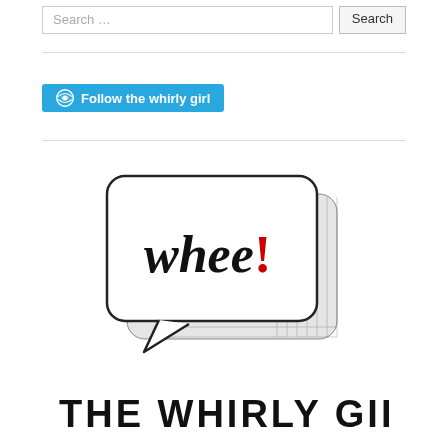Search …
[Figure (logo): The Whirly Girl logo: a hand-drawn speech bubble containing 'whee!' with a red exclamation mark, and 'THE WHIRLY GIRL' text below in hand-drawn style lettering]